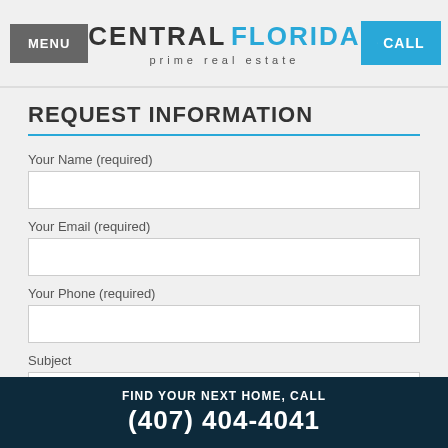MENU | CENTRAL FLORIDA prime real estate | CALL
REQUEST INFORMATION
Your Name (required)
Your Email (required)
Your Phone (required)
Subject
FIND YOUR NEXT HOME, CALL
(407) 404-4041